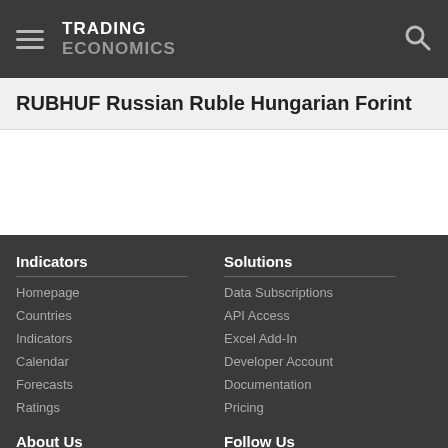TRADING ECONOMICS
RUBHUF Russian Ruble Hungarian Forint
Indicators
Homepage
Countries
Indicators
Calendar
Forecasts
Ratings
Solutions
Data Subscriptions
API Access
Excel Add-In
Developer Account
Documentation
Pricing
About Us
Customers
Careers
Investors
Follow Us
Twitter
App Store
RSS